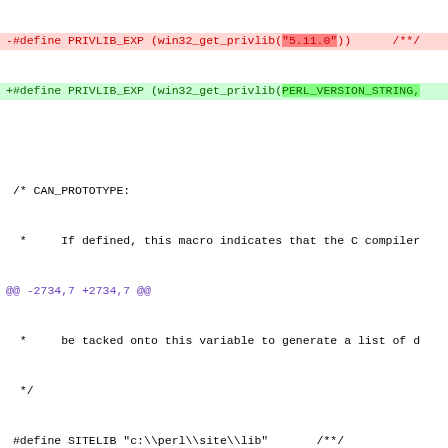[Figure (screenshot): Git diff output showing code changes in win32/config.h and win32/config_h.PL and win32/perlhost.h files, with removed lines in red and added lines in green, diff headers in bold, and hunk markers in purple.]